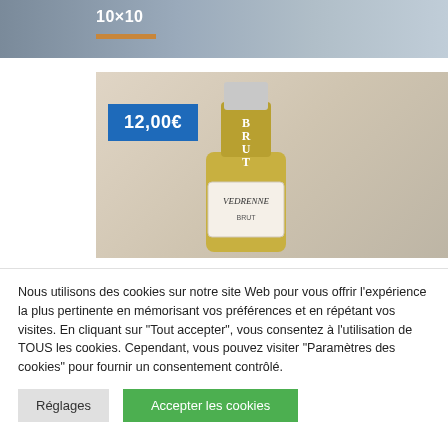[Figure (photo): Partial top section of a product image showing '10×10' text with an orange underline bar on a grey background]
[Figure (photo): Photo of a champagne/sparkling wine bottle labeled 'BRUT VEDRENNE BRUT' with a gold top, on a beige background, with a blue price badge showing '12,00€']
Nous utilisons des cookies sur notre site Web pour vous offrir l'expérience la plus pertinente en mémorisant vos préférences et en répétant vos visites. En cliquant sur "Tout accepter", vous consentez à l'utilisation de TOUS les cookies. Cependant, vous pouvez visiter "Paramètres des cookies" pour fournir un consentement contrôlé.
Réglages
Accepter les cookies